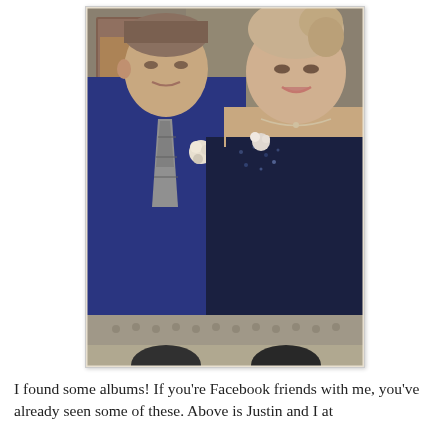[Figure (photo): A scanned photograph of a young man and young woman posing together, likely at a prom or formal event. The man is on the left wearing a dark blue suit jacket with a patterned tie and a boutonniere. The woman is on the right wearing a dark navy/purple strapless dress with beading and a corsage. The photo appears to be from the late 1990s or early 2000s. Below the main portrait there is a strip showing more of the room/setting.]
I found some albums! If you're Facebook friends with me, you've already seen some of these. Above is Justin and I at